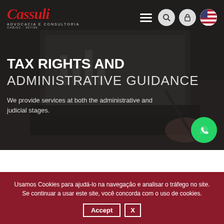[Figure (screenshot): Hero section of Cassuli law firm website with dark background showing laptop and hand with pen. Navigation bar with logo, hamburger menu, search, lock, and US flag icons.]
TAX RIGHTS AND ADMINISTRATIVE GUIDANCE
We provide services at both the administrative and judicial stages.
Usamos Cookies para ajudá-lo na navegação e analisar o tráfego no site. Se continuar a usar este site, você concorda com o uso de cookies.